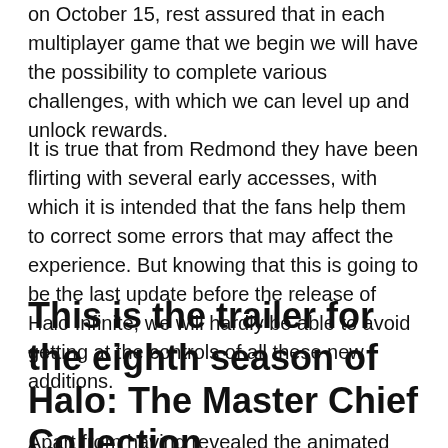on October 15, rest assured that in each multiplayer game that we begin we will have the possibility to complete various challenges, with which we can level up and unlock rewards.
It is true that from Redmond they have been flirting with several early accesses, with which it is intended that the fans help them to correct some errors that may affect the experience. But knowing that this is going to be the last update before the release of Halo Infinite, we will hardly be able to avoid getting at the controls of all these new additions.
This is the trailer for the eighth season of Halo: The Master Chief Collection
Apart from having revealed the animated wallpaper